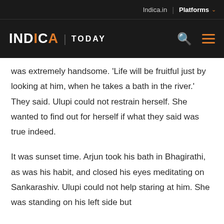Indica.in | Platforms
INDICA | TODAY
was extremely handsome. ‘Life will be fruitful just by looking at him, when he takes a bath in the river.’ They said. Ulupi could not restrain herself. She wanted to find out for herself if what they said was true indeed.
It was sunset time. Arjun took his bath in Bhagirathi, as was his habit, and closed his eyes meditating on Sankarashiv. Ulupi could not help staring at him. She was standing on his left side but